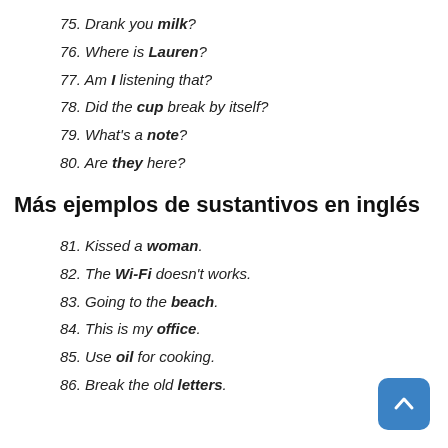75. Drank you milk?
76. Where is Lauren?
77. Am I listening that?
78. Did the cup break by itself?
79. What's a note?
80. Are they here?
Más ejemplos de sustantivos en inglés
81. Kissed a woman.
82. The Wi-Fi doesn't works.
83. Going to the beach.
84. This is my office.
85. Use oil for cooking.
86. Break the old letters.